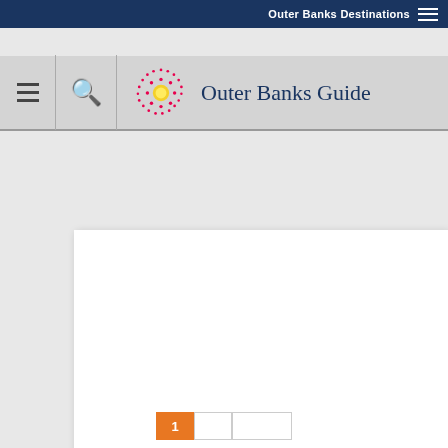Outer Banks Destinations
Outer Banks Guide
[Figure (screenshot): White content card with empty space and action bar showing Comment and Visit Our Website links]
Comment
Visit Our Website